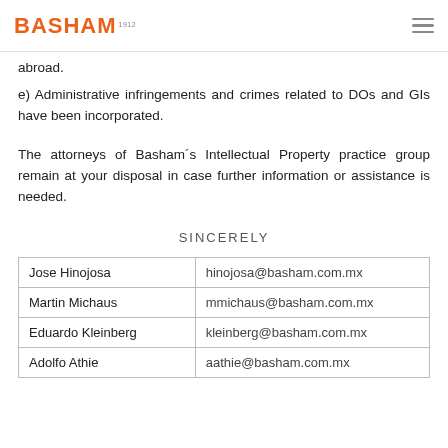BASHAM 1912
abroad.
e) Administrative infringements and crimes related to DOs and GIs have been incorporated.
The attorneys of Basham´s Intellectual Property practice group remain at your disposal in case further information or assistance is needed.
SINCERELY
| Jose Hinojosa | hinojosa@basham.com.mx |
| Martin Michaus | mmichaus@basham.com.mx |
| Eduardo Kleinberg | kleinberg@basham.com.mx |
| Adolfo Athie | aathie@basham.com.mx |